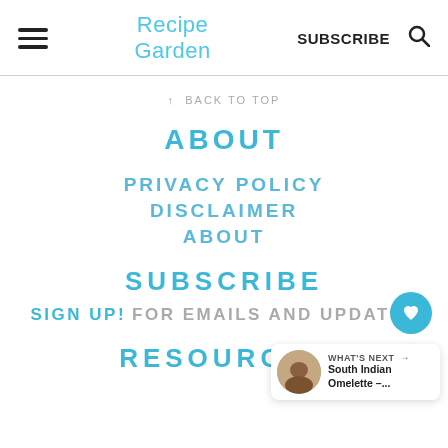Recipe Garden | SUBSCRIBE
↑ BACK TO TOP
ABOUT
PRIVACY POLICY
DISCLAIMER
ABOUT
SUBSCRIBE
SIGN UP! FOR EMAILS AND UPDATES
RESOURCES